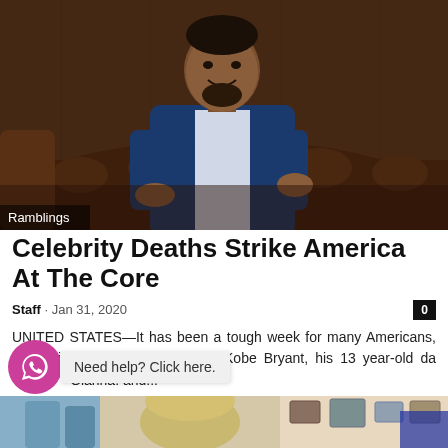[Figure (photo): Man in blue suit sitting on brown leather couch, smiling, with 'Ramblings' label overlay]
Ramblings
Celebrity Deaths Strike America At The Core
Staff · Jan 31, 2020
UNITED STATES—It has been a tough week for many Americans, the untimely death of NBA star Kobe Bryant, his 13 year-old daughter Gianna. and...
[Figure (photo): Bottom strip photo showing people in a room]